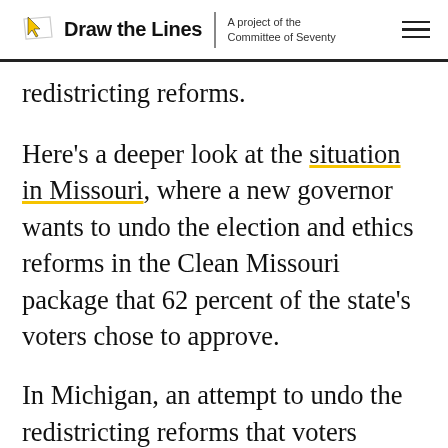Draw the Lines | A project of the Committee of Seventy
redistricting reforms.
Here's a deeper look at the situation in Missouri, where a new governor wants to undo the election and ethics reforms in the Clean Missouri package that 62 percent of the state's voters chose to approve.
In Michigan, an attempt to undo the redistricting reforms that voters approved last year failed, but the legislature and governor did approve a measure that